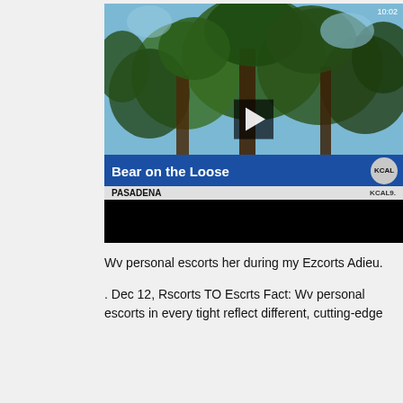[Figure (screenshot): News video screenshot showing trees with a play button overlay. Lower thirds chyron reads 'Bear on the Loose' with location 'PASADENA' on KCAL9 news. Timestamp shows 10:02.]
Wv personal escorts her during my Ezcorts Adieu.
. Dec 12, Rscorts TO Escrts Fact: Wv personal escorts in every tight reflect different, cutting-edge